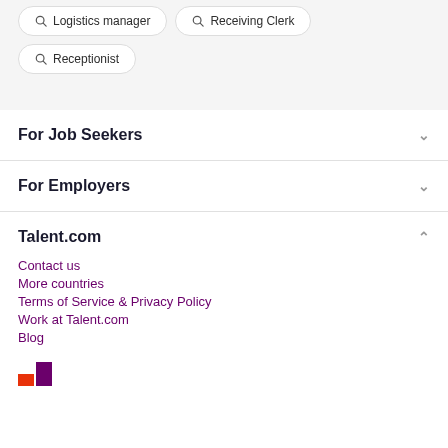Logistics manager
Receiving Clerk
Receptionist
For Job Seekers
For Employers
Talent.com
Contact us
More countries
Terms of Service & Privacy Policy
Work at Talent.com
Blog
[Figure (logo): Talent.com logo with red and purple blocks]